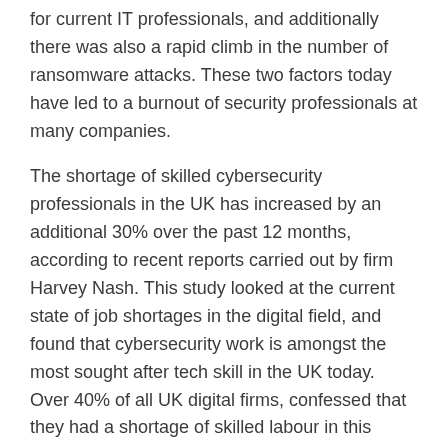for current IT professionals, and additionally there was also a rapid climb in the number of ransomware attacks. These two factors today have led to a burnout of security professionals at many companies.
The shortage of skilled cybersecurity professionals in the UK has increased by an additional 30% over the past 12 months, according to recent reports carried out by firm Harvey Nash. This study looked at the current state of job shortages in the digital field, and found that cybersecurity work is amongst the most sought after tech skill in the UK today. Over 40% of all UK digital firms, confessed that they had a shortage of skilled labour in this particular area.
5. Cloud Vulnerabilities
Many people felt that, over the many years, the cloud would inevitably become more secure,